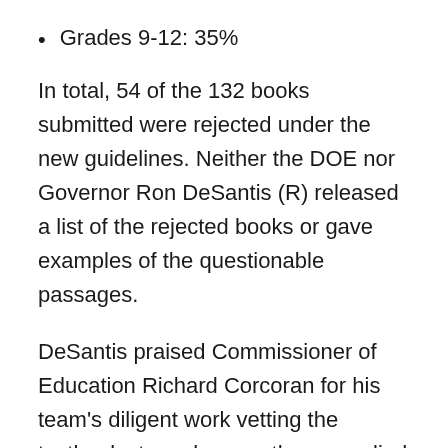Grades 9-12: 35%
In total, 54 of the 132 books submitted were rejected under the new guidelines. Neither the DOE nor Governor Ron DeSantis (R) released a list of the rejected books or gave examples of the questionable passages.
DeSantis praised Commissioner of Education Richard Corcoran for his team’s diligent work vetting the textbooks to make sure they complied with B.E.S.T. Standards. He also accused the publishers of attempting to push